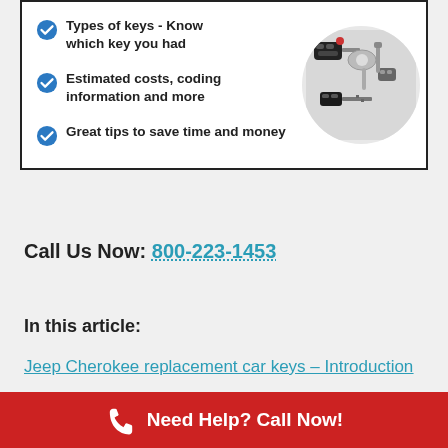[Figure (infographic): Box with three checkmark bullet points about car key replacement: 'Types of keys - Know which key you had', 'Estimated costs, coding information and more', 'Great tips to save time and money', with a circular photo of various car keys on the right side.]
Call Us Now: 800-223-1453
In this article:
Jeep Cherokee replacement car keys – Introduction
Need Help? Call Now!